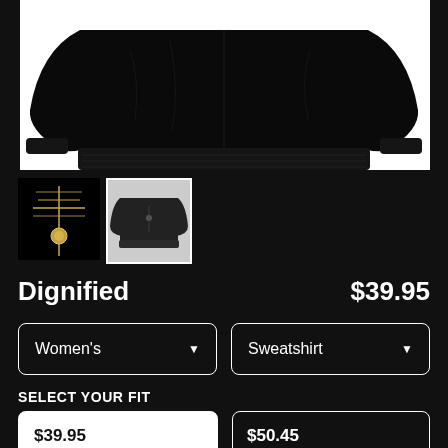[Figure (photo): Black sweatshirt product photo, cropped showing torso/bottom of garment on white background]
[Figure (photo): Small thumbnail: dark background with golden cross/lantern ornament design]
[Figure (photo): Small thumbnail: black sweatshirt with subtle design, white border selected state]
Dignified
$39.95
Women's
Sweatshirt
SELECT YOUR FIT
$39.95
French Terry
$50.45
Sponge Fleece